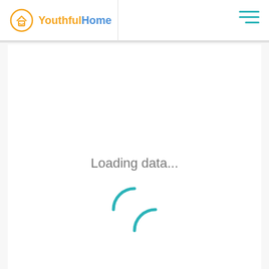[Figure (logo): YouthfulHome logo with orange circular icon containing a house/smiley face and text 'YouthfulHome' in orange and blue]
[Figure (other): Hamburger menu icon with three horizontal teal lines]
Loading data...
[Figure (other): Teal spinning/loading indicator arc circle]